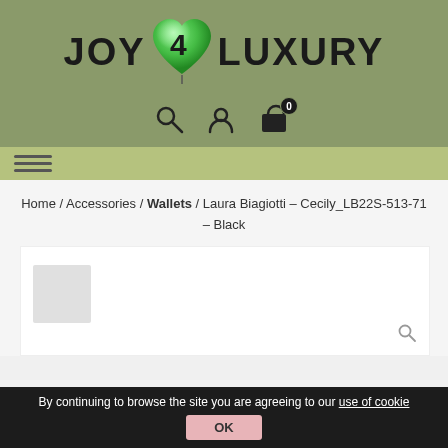[Figure (logo): Joy 4 Luxury logo with green heart/balloon between JOY and LUXURY text]
[Figure (infographic): Navigation icons: search (magnifier), user (person silhouette), shopping bag with 0 badge]
[Figure (infographic): Hamburger menu icon with three horizontal lines]
Home / Accessories / Wallets / Laura Biagiotti – Cecily_LB22S-513-71 – Black
[Figure (photo): Product image placeholder area for Laura Biagiotti Cecily wallet in black]
By continuing to browse the site you are agreeing to our use of cookie
OK